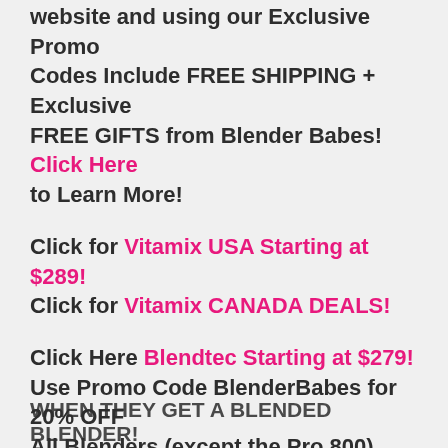website and using our Exclusive Promo Codes Include FREE SHIPPING + Exclusive FREE GIFTS from Blender Babes! Click Here to Learn More!
Click for Vitamix USA Starting at $289!
Click for Vitamix CANADA DEALS!
Click Here Blendtec Starting at $279!
Use Promo Code BlenderBabes for 20% OFF All Blenders (except the Pro 800), Jars and Accessories
WHEN THEY GET A BLENDED BLENDER!